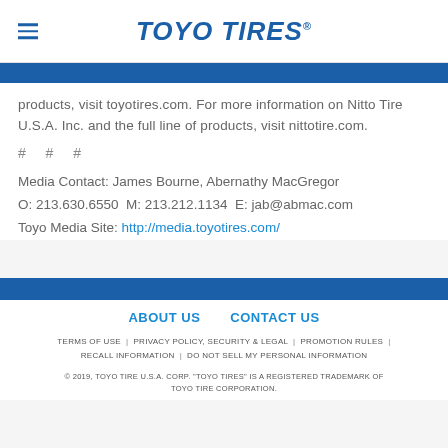TOYO TIRES
products, visit toyotires.com. For more information on Nitto Tire U.S.A. Inc. and the full line of products, visit nittotire.com.
# # #
Media Contact: James Bourne, Abernathy MacGregor
O: 213.630.6550 M: 213.212.1134 E: jab@abmac.com
Toyo Media Site: http://media.toyotires.com/
ABOUT US   CONTACT US
TERMS OF USE | PRIVACY POLICY, SECURITY & LEGAL | PROMOTION RULES | RECALL INFORMATION | DO NOT SELL MY PERSONAL INFORMATION
© 2019, TOYO TIRE U.S.A. CORP. "TOYO TIRES" IS A REGISTERED TRADEMARK OF TOYO TIRE CORPORATION.